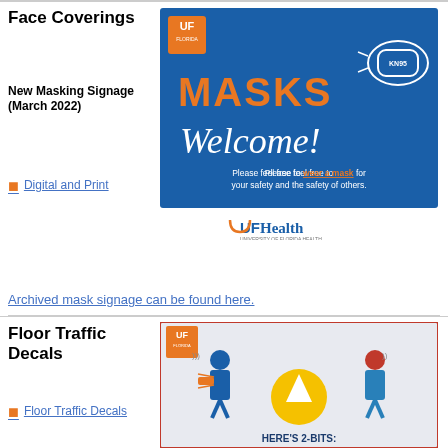Face Coverings
New Masking Signage (March 2022)
Digital and Print
[Figure (infographic): UF Florida branded blue banner with 'MASKS Welcome!' text and KN95 mask illustration, with UFHealth logo below. Text: 'Please feel free to wear a mask for your safety and the safety of others.']
Archived mask signage can be found here.
Floor Traffic Decals
Floor Traffic Decals
[Figure (infographic): UF Florida branded infographic with two illustrated people, a yellow arrow circle in the center, and text 'HERE'S 2-BITS:' at the bottom]